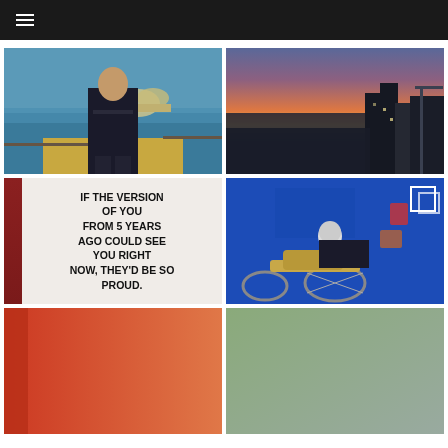Navigation menu (hamburger icon)
[Figure (photo): Man in dark suit standing at Sydney Harbour with Opera House in background, waterfront setting]
[Figure (photo): Cityscape at sunset/dusk with orange, pink and purple sky gradient over city skyline]
[Figure (photo): Motivational quote on white wall next to red door reading: IF THE VERSION OF YOU FROM 5 YEARS AGO COULD SEE YOU RIGHT NOW, THEY'D BE SO PROUD.]
[Figure (photo): Woman on a vintage Harley-Davidson motorcycle in front of a blue wall, wearing helmet and dark clothing]
[Figure (photo): Partial photo at bottom left - orange/red toned]
[Figure (photo): Partial photo at bottom right - green/grey toned]